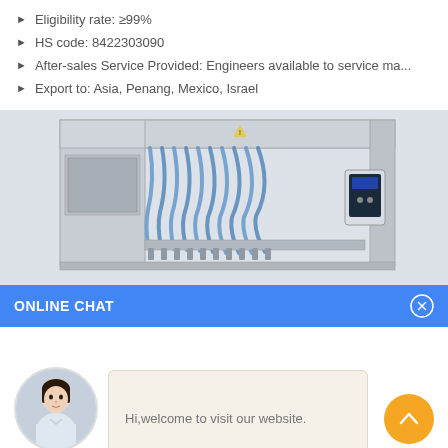Eligibility rate: ≥99%
HS code: 8422303090
After-sales Service Provided: Engineers available to service ma...
Export to: Asia, Penang, Mexico, Israel
[Figure (photo): Industrial liquid filling machine with stainless steel frame, multiple filling heads with blue tubes/hoses, and a control panel on the right side.]
ONLINE CHAT
[Figure (photo): Customer service avatar - woman named Cilina in white top against grey background, circular cropped photo.]
Hi,welcome to visit our website.
Cilina